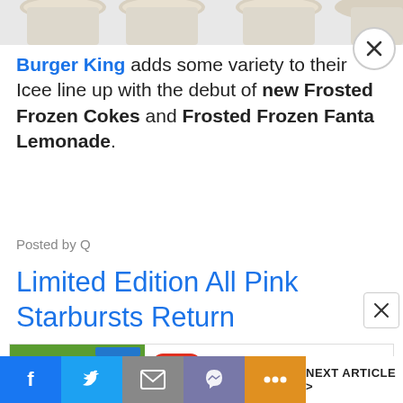[Figure (photo): Row of frozen drink cups at top of page, partially cropped]
Burger King adds some variety to their Icee line up with the debut of new Frosted Frozen Cokes and Frosted Frozen Fanta Lemonade.
Posted by Q
Limited Edition All Pink Starbursts Return
[Figure (screenshot): Ad for BitLife - Life Simulator app with green background image and red app icon]
Facebook share | Twitter share | Mail share | Messenger share | More | NEXT ARTICLE >